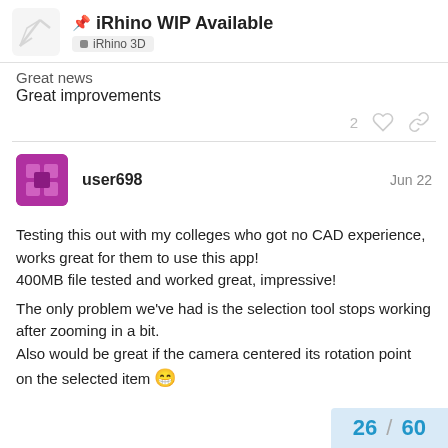📌 iRhino WIP Available — iRhino 3D
Great news
Great improvements
user698   Jun 22
Testing this out with my colleges who got no CAD experience, works great for them to use this app!
400MB file tested and worked great, impressive!

The only problem we've had is the selection tool stops working after zooming in a bit.
Also would be great if the camera centered its rotation point on the selected item 😁
26 / 60